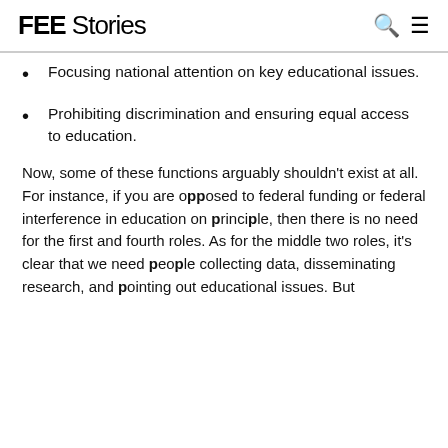FEE Stories
Focusing national attention on key educational issues.
Prohibiting discrimination and ensuring equal access to education.
Now, some of these functions arguably shouldn't exist at all. For instance, if you are opposed to federal funding or federal interference in education on principle, then there is no need for the first and fourth roles. As for the middle two roles, it's clear that we need people collecting data, disseminating research, and pointing out educational issues. But